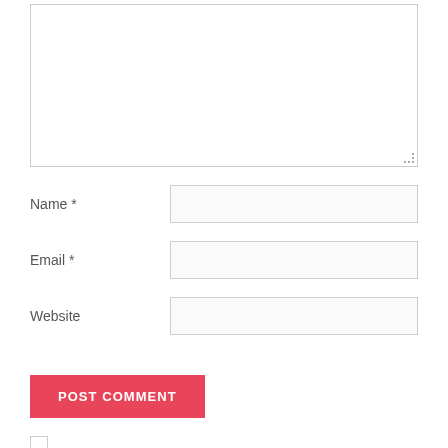[Figure (screenshot): Comment form textarea (large empty text input box with resize handle)]
Name *
[Figure (screenshot): Name text input field]
Email *
[Figure (screenshot): Email text input field]
Website
[Figure (screenshot): Website text input field]
POST COMMENT
[Figure (screenshot): Checkbox (partially visible at bottom)]